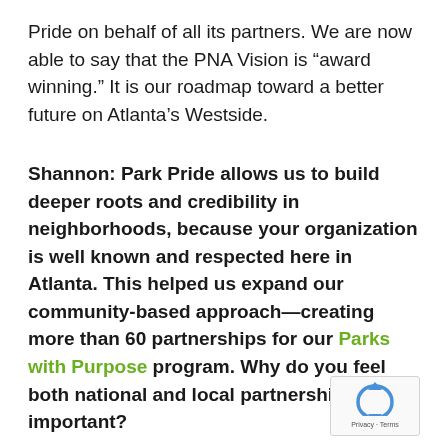Pride on behalf of all its partners. We are now able to say that the PNA Vision is “award winning.” It is our roadmap toward a better future on Atlanta’s Westside.
Shannon: Park Pride allows us to build deeper roots and credibility in neighborhoods, because your organization is well known and respected here in Atlanta. This helped us expand our community-based approach—creating more than 60 partnerships for our Parks with Purpose program. Why do you feel both national and local partnerships are so important?
[Figure (logo): reCAPTCHA badge with recycling arrow icon and Privacy · Terms text]